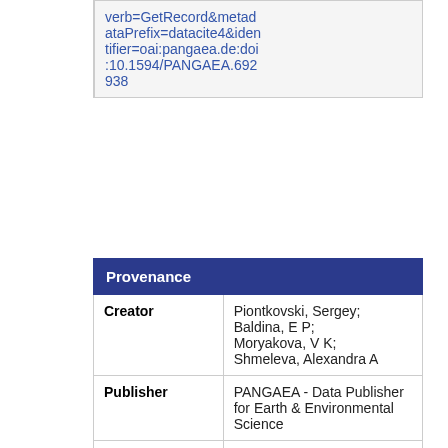|  | verb=GetRecord&metadataPrefix=datacite4&identifier=oai:pangaea.de:doi:10.1594/PANGAEA.692938 |
| Provenance |
| --- |
| Creator | Piontkovski, Sergey; Baldina, E P; Moryakova, V K; Shmeleva, Alexandra A |
| Publisher | PANGAEA - Data Publisher for Earth & Environmental Science |
| Contributor | Institute of Biology of the Southern Seas, National Academy of Sciences of Ukraine, Sevastopol |
| Publication Year | 2008 |